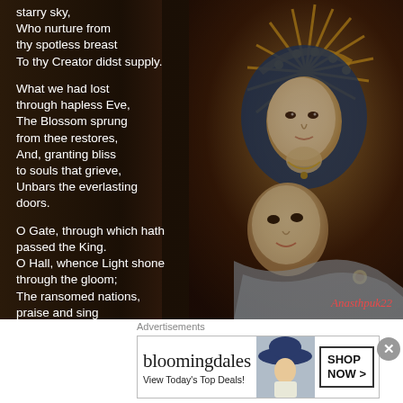[Figure (illustration): Religious painting of Madonna and Child (Virgin Mary holding infant Jesus) with golden sunburst crown/halo, against dark background. Watermark 'Anasthpuk22' in red italic.]
starry sky,
Who nurture from
thy spotless breast
To thy Creator didst supply.

What we had lost
through hapless Eve,
The Blossom sprung
from thee restores,
And, granting bliss
to souls that grieve,
Unbars the everlasting
doors.

O Gate, through which hath
passed the King.
O Hall, whence Light shone
through the gloom;
The ransomed nations,
praise and sing
Life given from the Virgin
womb.

All honour, laud
Advertisements
[Figure (screenshot): Bloomingdale's advertisement banner. Logo text 'bloomingdales', tagline 'View Today's Top Deals!', image of woman in large blue hat, button 'SHOP NOW >']